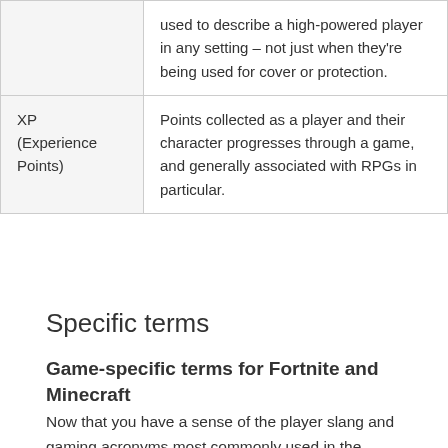| Term | Definition |
| --- | --- |
|  | used to describe a high-powered player in any setting – not just when they're being used for cover or protection. |
| XP (Experience Points) | Points collected as a player and their character progresses through a game, and generally associated with RPGs in particular. |
Specific terms
Game-specific terms for Fortnite and Minecraft
Now that you have a sense of the player slang and gaming acronyms most commonly used in the